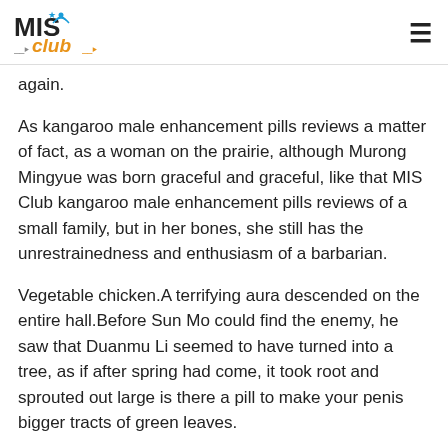MIS Club logo and hamburger menu
again.
As kangaroo male enhancement pills reviews a matter of fact, as a woman on the prairie, although Murong Mingyue was born graceful and graceful, like that MIS Club kangaroo male enhancement pills reviews of a small family, but in her bones, she still has the unrestrainedness and enthusiasm of a barbarian.
Vegetable chicken.A terrifying aura descended on the entire hall.Before Sun Mo could find the enemy, he saw that Duanmu Li seemed to have turned into a tree, as if after spring had come, it took root and sprouted out large is there a pill to make your penis bigger tracts of green leaves.